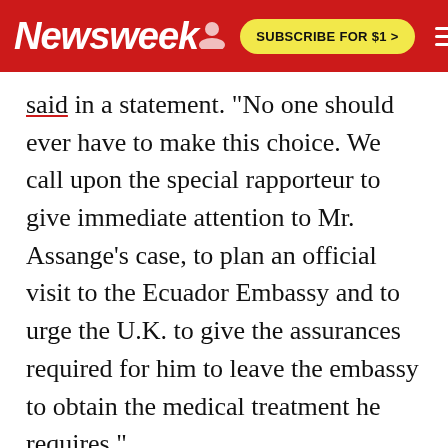Newsweek | SUBSCRIBE FOR $1 >
said in a statement. "No one should ever have to make this choice. We call upon the special rapporteur to give immediate attention to Mr. Assange's case, to plan an official visit to the Ecuador Embassy and to urge the U.K. to give the assurances required for him to leave the embassy to obtain the medical treatment he requires."
Although CNN reported in April 2017 that the U.S. was preparing charges against Assange, the U.S. has not yet indicted him, and the U.K.